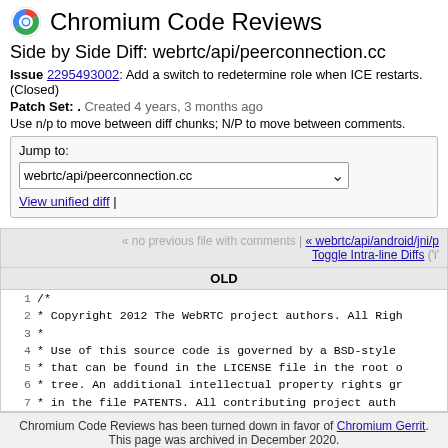Chromium Code Reviews
Side by Side Diff: webrtc/api/peerconnection.cc
Issue 2295493002: Add a switch to redetermine role when ICE restarts. (Closed)
Patch Set: . Created 4 years, 3 months ago
Use n/p to move between diff chunks; N/P to move between comments.
Jump to: webrtc/api/peerconnection.cc
View unified diff |
« no previous file with comments | « webrtc/api/android/jni/p Toggle Intra-line Diffs ('i'
| OLD |
| --- |
| 1 | /* |
| 2 |  *  Copyright 2012 The WebRTC project authors. All Righ |
| 3 |  * |
| 4 |  *  Use of this source code is governed by a BSD-style |
| 5 |  *  that can be found in the LICENSE file in the root o |
| 6 |  *  tree. An additional intellectual property rights gr |
| 7 |  *  in the file PATENTS.  All contributing project auth |
Chromium Code Reviews has been turned down in favor of Chromium Gerrit. This page was archived in December 2020.